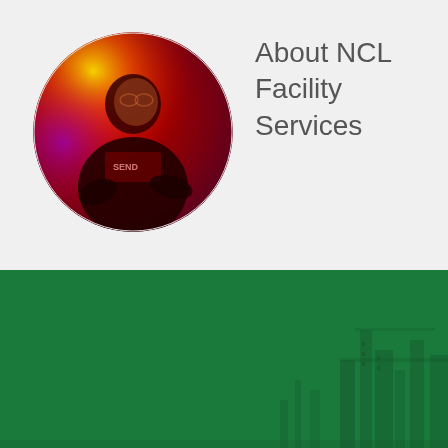[Figure (photo): Circular profile photo of a person under red and yellow stage lighting, wearing a dark sweatshirt with text, appears to be at a performance or event]
About NCL Facility Services
[Figure (photo): Green background section with faint silhouette of industrial or construction equipment/buildings visible at bottom right]